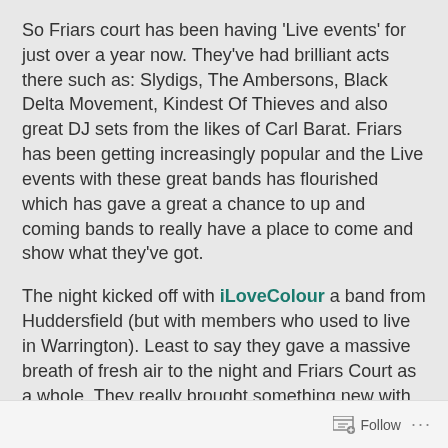So Friars court has been having 'Live events' for just over a year now. They've had brilliant acts there such as: Slydigs, The Ambersons, Black Delta Movement, Kindest Of Thieves and also great DJ sets from the likes of Carl Barat. Friars has been getting increasingly popular and the Live events with these great bands has flourished which has gave a great a chance to up and coming bands to really have a place to come and show what they've got.
The night kicked off with iLoveColour a band from Huddersfield (but with members who used to live in Warrington). Least to say they gave a massive breath of fresh air to the night and Friars Court as a whole. They really brought something new with them, they're sound was hard to pinpoint on a certain genre, but there's no
Follow